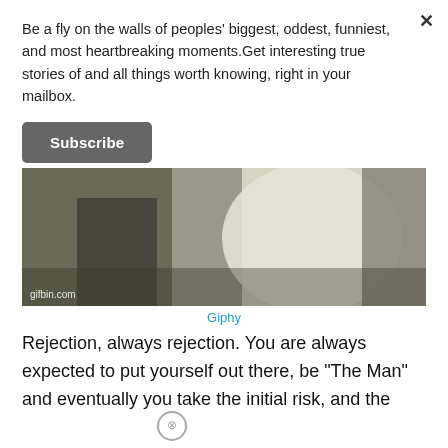Be a fly on the walls of peoples' biggest, oddest, funniest, and most heartbreaking moments.Get interesting true stories of and all things worth knowing, right in your mailbox.
Subscribe
[Figure (photo): Black and white or sepia-toned photo showing a person from behind wearing a white top, standing against a dark rocky background. A watermark 'gifbin.com' is visible in the lower left.]
Giphy
Rejection, always rejection. You are always expected to put yourself out there, be "The Man" and eventually you take the initial risk, and the higher the risk the worse you feel once rejected.